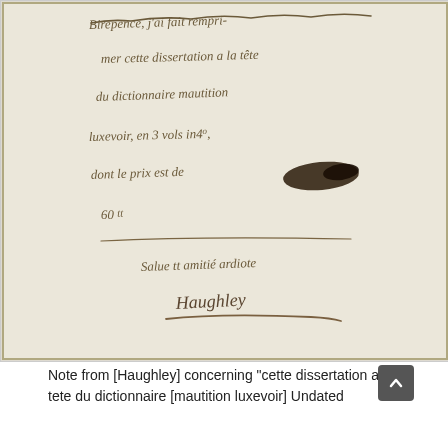[Figure (photo): Handwritten manuscript letter in French cursive script (brown ink on aged cream paper). The text reads portions of a French letter concerning 'cette dissertation a la tete du dictionnaire [mautition luxevoir]', mentioning '3 vols in4o', a price of '60 tt', and signed with 'Salue tt amitie ardiote' and a signature resembling 'Haughley'.]
Note from [Haughley] concerning "cette dissertation a la tete du dictionnaire [mautition luxevoir] Undated